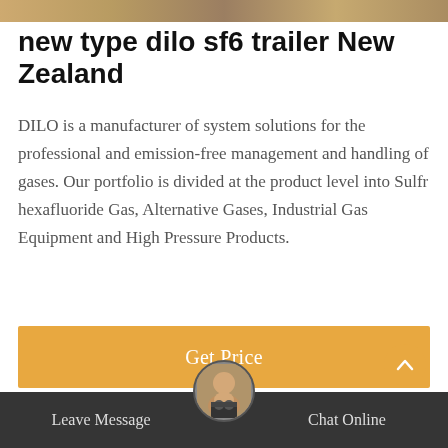[Figure (photo): Partial view of industrial equipment or machinery at the top of the page]
new type dilo sf6 trailer New Zealand
DILO is a manufacturer of system solutions for the professional and emission-free management and handling of gases. Our portfolio is divided at the product level into Sulfr hexafluoride Gas, Alternative Gases, Industrial Gas Equipment and High Pressure Products.
[Figure (other): Orange 'Get Price' call-to-action button]
[Figure (photo): Interior of an industrial facility showing piping, ducts, and industrial equipment]
[Figure (other): Bottom navigation bar with Leave Message and Chat Online options and customer service avatar]